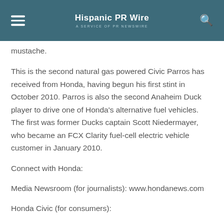Hispanic PR Wire — A SERVICE OF PR NEWSWIRE
mustache.
This is the second natural gas powered Civic Parros has received from Honda, having begun his first stint in October 2010. Parros is also the second Anaheim Duck player to drive one of Honda's alternative fuel vehicles. The first was former Ducks captain Scott Niedermayer, who became an FCX Clarity fuel-cell electric vehicle customer in January 2010.
Connect with Honda:
Media Newsroom (for journalists): www.hondanews.com
Honda Civic (for consumers):